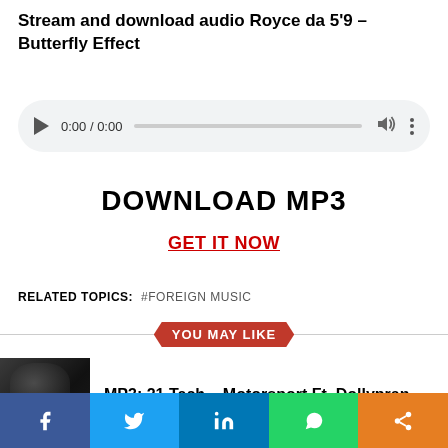Stream and download audio Royce da 5'9 – Butterfly Effect
[Figure (other): Audio player widget showing 0:00 / 0:00 with play button, progress bar, volume and menu icons]
DOWNLOAD MP3
GET IT NOW
RELATED TOPICS:  #FOREIGN MUSIC
YOU MAY LIKE
MP3: 21 Tach – Motorsport Ft. Dollypran